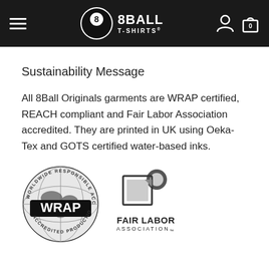8BALL T-SHIRTS
Sustainability Message
All 8Ball Originals garments are WRAP certified, REACH compliant and Fair Labor Association accredited. They are printed in UK using Oeka-Tex and GOTS certified water-based inks.
[Figure (logo): WRAP Worldwide Responsible Accredited Production circular logo in black and white]
[Figure (logo): Fair Labor Association logo with text FAIR LABOR ASSOCIATION below]